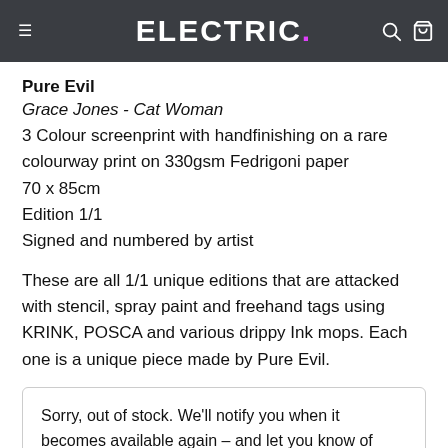ELECTRIC.
Pure Evil
Grace Jones - Cat Woman
3 Colour screenprint with handfinishing on a rare colourway print on 330gsm Fedrigoni paper
70 x 85cm
Edition 1/1
Signed and numbered by artist
These are all 1/1 unique editions that are attacked with stencil, spray paint and freehand tags using KRINK, POSCA and various drippy Ink mops. Each one is a unique piece made by Pure Evil.
Sorry, out of stock. We'll notify you when it becomes available again – and let you know of similar works as soon as they arrive in the gallery.